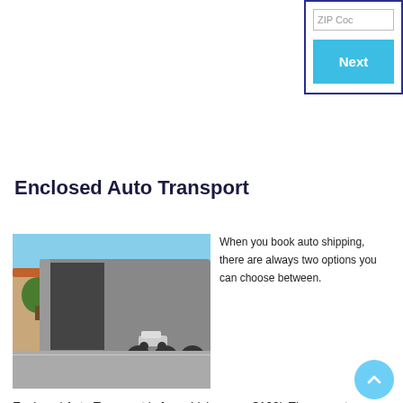ZIP Code
Next
Enclosed Auto Transport
[Figure (photo): An enclosed auto transport trailer with loading ramp extended, parked on a street with cars and buildings visible in the background.]
When you book auto shipping, there are always two options you can choose between.
Enclosed Auto Transport is for vehicles over $100k There are two methods of car shipping. The first one is very common and it is Open Auto Shipping. Most of the auto transport customers use